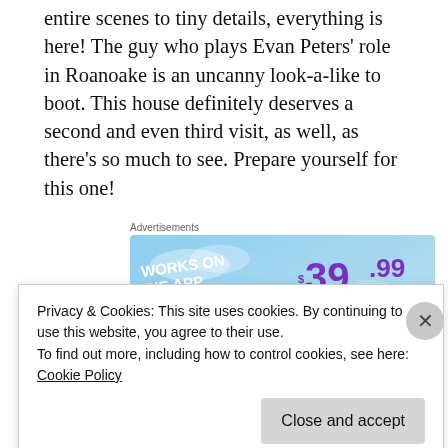entire scenes to tiny details, everything is here! The guy who plays Evan Peters' role in Roanoake is an uncanny look-a-like to boot. This house definitely deserves a second and even third visit, as well, as there’s so much to see. Prepare yourself for this one!
[Figure (illustration): Advertisement banner with blue sky background. Text says 'WORKS ON THE APP TOO!' on the left and '$39.99 a year or $4.99 a month + FREE SHIPPING' on the right in purple. A Tumblr-like logo icon with yellow sparkle stars is shown in the center-left.]
Privacy & Cookies: This site uses cookies. By continuing to use this website, you agree to their use.
To find out more, including how to control cookies, see here: Cookie Policy
Close and accept